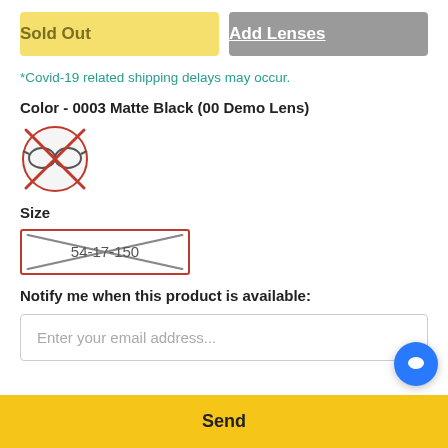Sold Out | Add Lenses
*Covid-19 related shipping delays may occur.
Color - 0003 Matte Black (00 Demo Lens)
[Figure (illustration): Circular swatch showing matte black eyeglasses with a red circle border and a red X cross through it, indicating sold out]
Size
[Figure (illustration): Size option button showing '54-17-150' in a red-bordered rectangle with an X cross through it, indicating out of stock]
Notify me when this product is available:
Enter your email address...
Send